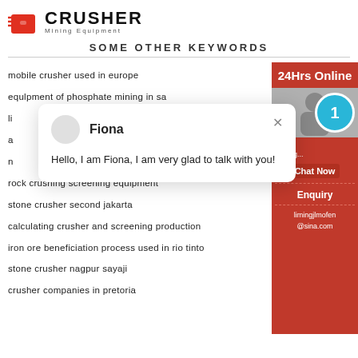[Figure (logo): Crusher Mining Equipment logo with red shopping bag icon and bold black CRUSHER text]
SOME OTHER KEYWORDS
mobile crusher used in europe
equlpment of phosphate mining in sa
li...
a...
n...
rock crushing screening equipment
stone crusher second jakarta
calculating crusher and screening production
iron ore beneficiation process used in rio tinto
stone crusher nagpur sayaji
crusher companies in pretoria
[Figure (screenshot): Chat popup with avatar, name Fiona, and message: Hello, I am Fiona, I am very glad to talk with you!]
[Figure (infographic): Red sidebar with 24Hrs Online label, chat badge showing 1, Chat Now button, Enquiry section, and email limingjlmofen@sina.com]